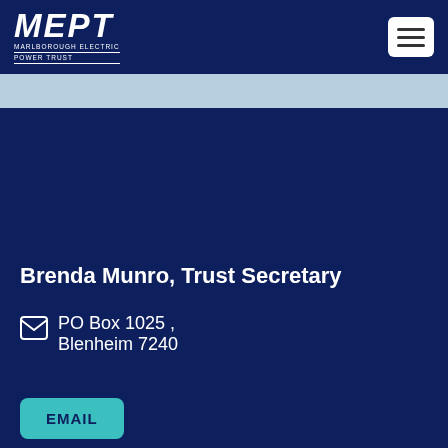[Figure (logo): MEPT Marlborough Electric Power Trust logo in white text on dark navy background]
[Figure (other): Hamburger menu icon (three horizontal lines) in a white rounded rectangle button]
Brenda Munro, Trust Secretary
PO Box 1025 , Blenheim 7240
EMAIL